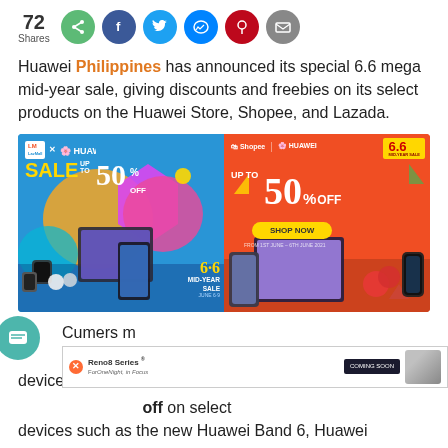72 Shares
[Figure (infographic): Share buttons row: green share icon, Facebook blue, Twitter blue, Messenger blue, Pinterest red, email grey]
Huawei Philippines has announced its special 6.6 mega mid-year sale, giving discounts and freebies on its select products on the Huawei Store, Shopee, and Lazada.
[Figure (photo): Two promotional banners side by side. Left: LazMall x Huawei Sale Up to 50% Off, 6-6 Mid-Year Sale. Right: Shopee x Huawei 6.6 Mid-Year Sale, Up to 50% Off, Shop Now, From 1st June – 6th June 2021. Both banners feature Huawei devices including tablets, phones, smartwatches and earbuds.]
Consumers may get discounts up to 50% off on select devices such as the new Huawei Band 6, Huawei